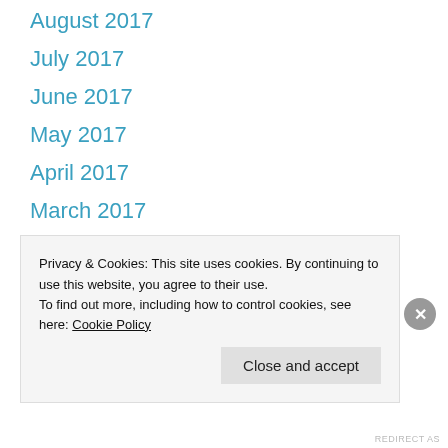August 2017
July 2017
June 2017
May 2017
April 2017
March 2017
February 2017
January 2017
December 2016
November 2016
Privacy & Cookies: This site uses cookies. By continuing to use this website, you agree to their use.
To find out more, including how to control cookies, see here: Cookie Policy
REDIRECT AS